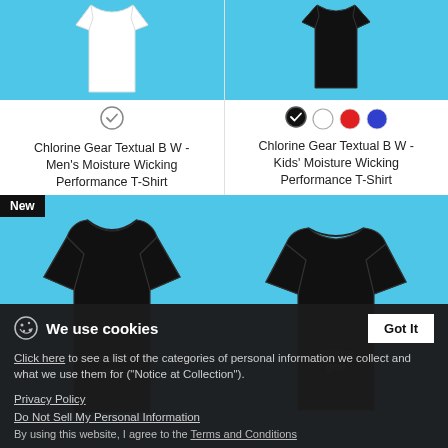[Figure (photo): White t-shirt on light blue background]
Chlorine Gear Textual B W - Men's Moisture Wicking Performance T-Shirt
$29.99
[Figure (photo): Black t-shirt on light blue background with color selector dots (black selected, white, red, blue)]
Chlorine Gear Textual B W - Kids' Moisture Wicking Performance T-Shirt
$25.49
[Figure (photo): New badge. Black women's t-shirt with Chlorine Gear logo on light blue background]
[Figure (photo): Black t-shirt with Chlorine Gear logo on light blue background]
We use cookies
Click here to see a list of the categories of personal information we collect and what we use them for ("Notice at Collection").
Privacy Policy
Do Not Sell My Personal Information
By using this website, I agree to the Terms and Conditions